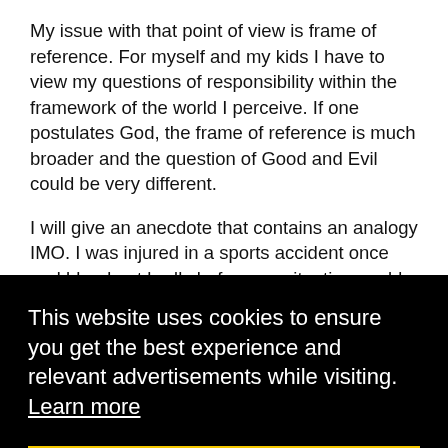My issue with that point of view is frame of reference. For myself and my kids I have to view my questions of responsibility within the framework of the world I perceive. If one postulates God, the frame of reference is much broader and the question of Good and Evil could be very different.
I will give an anecdote that contains an analogy IMO. I was injured in a sports accident once and bleed out badly before my situation could be stabilized. After the fact a doctor told me I had lost half of my blood and was in pretty serious condition. The injury was to my facial area and an ENT specialist arrived to try to close off the last area of bleeding [scar] [an] [me at]
[Figure (screenshot): Cookie consent banner overlay with black background. Text reads: 'This website uses cookies to ensure you get the best experience and relevant advertisements while visiting. Learn more'. Below is a yellow 'Got it!' button.]
was consumate evil. However, if the full story of my life is